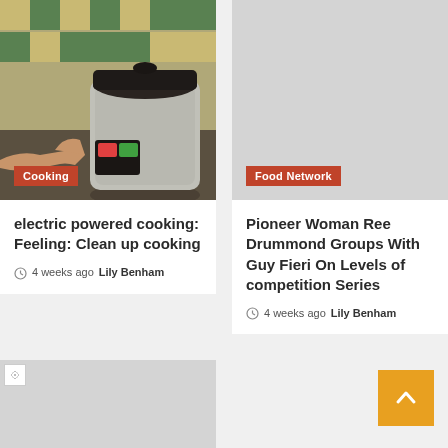[Figure (photo): Hand pointing at an electric pressure cooker on a kitchen counter with green and beige tiles in the background]
Cooking
electric powered cooking: Feeling: Clean up cooking
4 weeks ago  Lily Benham
[Figure (photo): Gray placeholder image for Food Network article]
Food Network
Pioneer Woman Ree Drummond Groups With Guy Fieri On Levels of competition Series
4 weeks ago  Lily Benham
[Figure (photo): Broken/loading image placeholder at bottom left]
[Figure (other): Orange back-to-top button with upward arrow chevron]